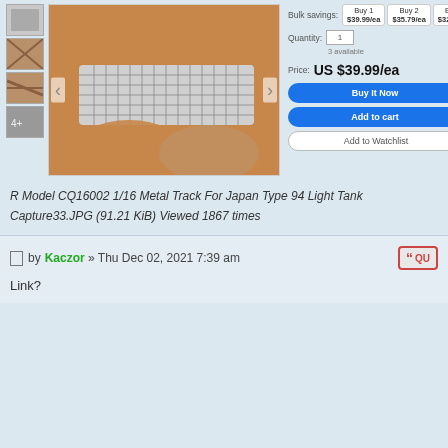[Figure (screenshot): eBay product listing for R Model CQ16002 1/16 Metal Track, showing product image of metal tank tracks held by fingers, thumbnail images on left, and purchase options including price US $39.99/ea, Buy It Now, Add to cart, and Add to Watchlist buttons with bulk savings options.]
R Model CQ16002 1/16 Metal Track For Japan Type 94 Light Tank Capture33.JPG (91.21 KiB) Viewed 1867 times
by Kaczor » Thu Dec 02, 2021 7:39 am
Link?